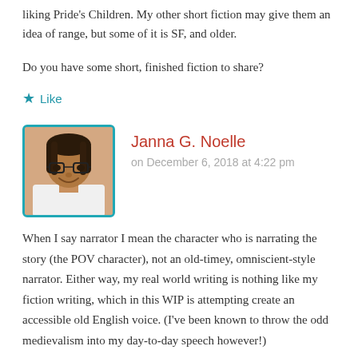liking Pride's Children. My other short fiction may give them an idea of range, but some of it is SF, and older.
Do you have some short, finished fiction to share?
★ Like
[Figure (photo): Profile photo of Janna G. Noelle — a woman with glasses and braided hair, smiling, with a teal border around the photo]
Janna G. Noelle
on December 6, 2018 at 4:22 pm
When I say narrator I mean the character who is narrating the story (the POV character), not an old-timey, omniscient-style narrator. Either way, my real world writing is nothing like my fiction writing, which in this WIP is attempting create an accessible old English voice. (I've been known to throw the odd medievalism into my day-to-day speech however!)
I don't really have anything current that's finished. I do have some